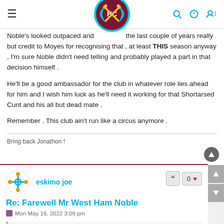[Figure (logo): Hammers Chat website logo - circular badge with HC initials and crossed hammers on maroon background with cyan border]
Noble's looked outpaced and ... the last couple of years really but credit to Moyes for recognising that , at least THIS season anyway , I'm sure Noble didn't need telling and probably played a part in that decision himself .

He'll be a good ambassador for the club in whatever role lies ahead for him and I wish him luck as he'll need it working for that Shortarsed Cunt and his all but dead mate .

Remember . This club ain't run like a circus anymore .
Bring back Jonathon !
eskimo joe
Re: Farewell Mr West Ham Noble
Mon May 16, 2022 3:09 pm
Newmarket wrote: ↑